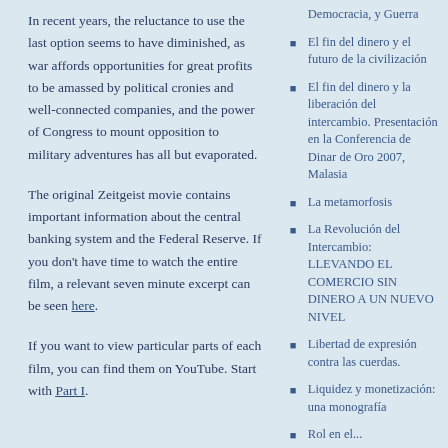In recent years, the reluctance to use the last option seems to have diminished, as war affords opportunities for great profits to be amassed by political cronies and well-connected companies, and the power of Congress to mount opposition to military adventures has all but evaporated.
The original Zeitgeist movie contains important information about the central banking system and the Federal Reserve. If you don't have time to watch the entire film, a relevant seven minute excerpt can be seen here.
If you want to view particular parts of each film, you can find them on YouTube. Start with Part I.
Democracia, y Guerra
El fin del dinero y el futuro de la civilización
El fin del dinero y la liberación del intercambio. Presentación en la Conferencia de Dinar de Oro 2007, Malasia
La metamorfosis
La Revolución del Intercambio: LLEVANDO EL COMERCIO SIN DINERO A UN NUEVO NIVEL
Libertad de expresión contra las cuerdas.
Liquidez y monetización: una monografía
Rol en el...